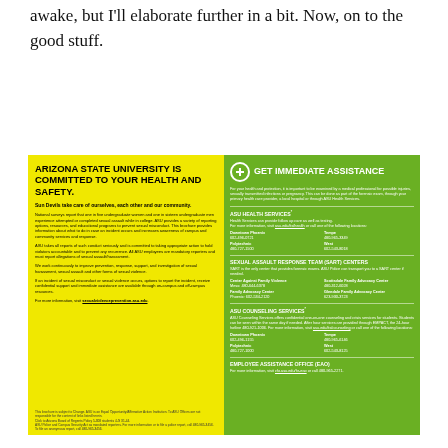awake, but I'll elaborate further in a bit. Now, on to the good stuff.
[Figure (infographic): ASU campus safety flyer with two panels. Left yellow panel: 'Arizona State University is committed to your health and safety.' with body text about sexual misconduct prevention. Right green panel: 'Get Immediate Assistance' with contact information for ASU Health Services, Sexual Assault Response Team (SART) Centers, ASU Counseling Services, and Employee Assistance Office (EAO).]